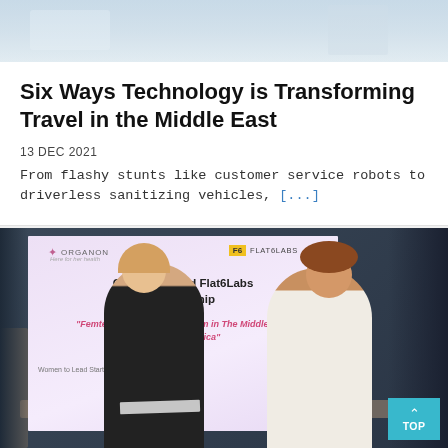[Figure (photo): Partial image at top of page showing a room with equipment, cropped]
Six Ways Technology is Transforming Travel in the Middle East
13 DEC 2021
From flashy stunts like customer service robots to driverless sanitizing vehicles, [...]
[Figure (photo): Photo of two women signing documents at a table in front of a banner reading ORGANON and Flat6Labs Partnership - Femtech Accelerator Program in The Middle East and North Africa - Women to Lead Startups in Digital Healthcare]